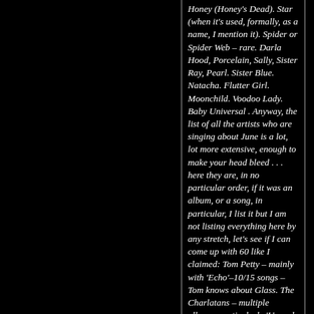Honey (Honey's Dead). Star (when it's used, formally, as a name, I mention it). Spider or Spider Web – rare. Darla Hood, Porcelain, Sally, Sister Ray, Pearl. Sister Blue. Natacha. Flutter Girl. Moonchild. Voodoo Lady. Baby Universal . Anyway, the list of all the artists who are singing about June is a lot, lot more extensive, enough to make your head bleed . . . here they are, in no particular order, if it was an album, or a song, in particular, I list it but I am not listing everything here by any stretch, let's see if I can come up with 60 like I claimed: Tom Petty – mainly with 'Echo'–10/15 songs – Tom knows about Glass. The Charlatans – multiple albums, particularly 'Us and Us Only' scattered and too extensive to get into, but